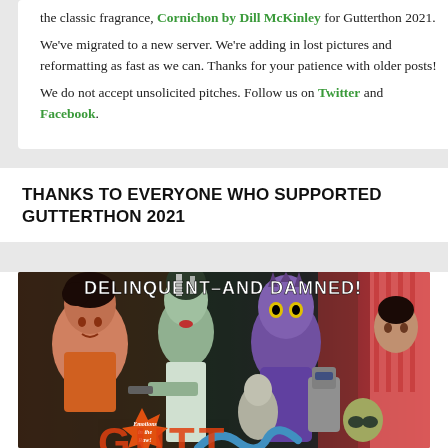the classic fragrance, Cornichon by Dill McKinley for Gutterthon 2021. We've migrated to a new server. We're adding in lost pictures and reformatting as fast as we can. Thanks for your patience with older posts! We do not accept unsolicited pitches. Follow us on Twitter and Facebook.
THANKS TO EVERYONE WHO SUPPORTED GUTTERTHON 2021
[Figure (photo): Vintage B-movie/exploitation collage poster with the headline 'DELINQUENT–AND DAMNED!' and tagline 'Emotions in the Raw!' featuring classic horror and sci-fi characters including Frankenstein's Bride, a vampire, Godzilla-like creature, a robot, and various other characters in dramatic poses.]